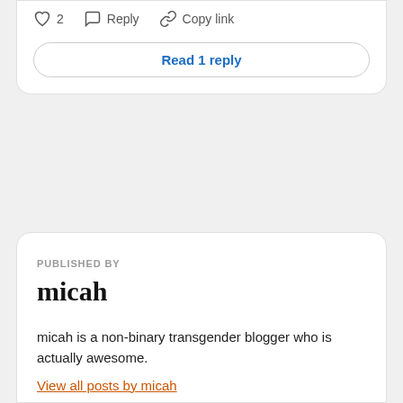♡ 2   ○ Reply   ∞ Copy link
Read 1 reply
PUBLISHED BY
micah
micah is a non-binary transgender blogger who is actually awesome.
View all posts by micah